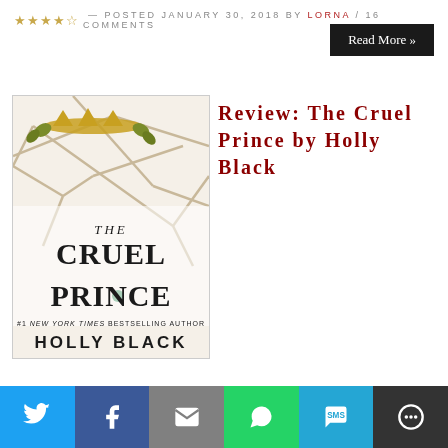★★★★☆ — POSTED JANUARY 30, 2018 BY LORNA / 16 COMMENTS
Read More »
[Figure (photo): Book cover of 'The Cruel Prince' by Holly Black — #1 New York Times Bestselling Author. Cover shows tangled bare branches with a golden crown with oak leaves, and a green gem. Title text in large serif font.]
Review: The Cruel Prince by Holly Black
[Figure (infographic): Social sharing bar with icons for Twitter, Facebook, Email, WhatsApp, SMS, and More options]